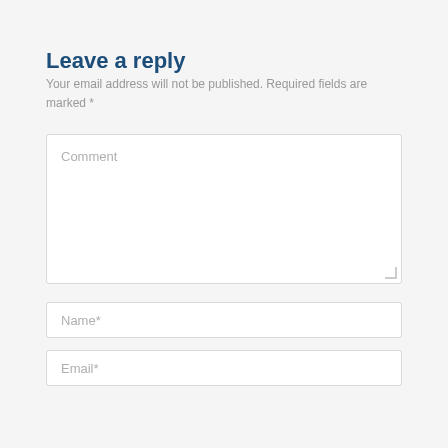Leave a reply
Your email address will not be published. Required fields are marked *
Comment
Name*
Email*